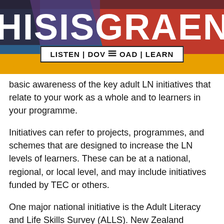[Figure (illustration): Banner header with colorful background (blue, red, orange/yellow) showing large white text 'HISISGRAEN' and a navigation bar with 'LISTEN | DOWNLOAD | LEARN' and a menu icon. Partial photo of people visible in background.]
If you are involved in literacy and numeracy professional development you should have a basic awareness of the key adult LN initiatives that relate to your work as a whole and to learners in your programme.
Initiatives can refer to projects, programmes, and schemes that are designed to increase the LN levels of learners. These can be at a national, regional, or local level, and may include initiatives funded by TEC or others.
One major national initiative is the Adult Literacy and Life Skills Survey (ALLS). New Zealand participated in 2006 and researchers are collecting data now for the